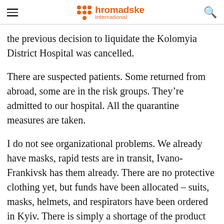hromadske international
the previous decision to liquidate the Kolomyia District Hospital was cancelled.
There are suspected patients. Some returned from abroad, some are in the risk groups. They’re admitted to our hospital. All the quarantine measures are taken.
I do not see organizational problems. We already have masks, rapid tests are in transit, Ivano-Frankivsk has them already. There are no protective clothing yet, but funds have been allocated – suits, masks, helmets, and respirators have been ordered in Kyiv. There is simply a shortage of the product itself. I think in a day or two we will have them.